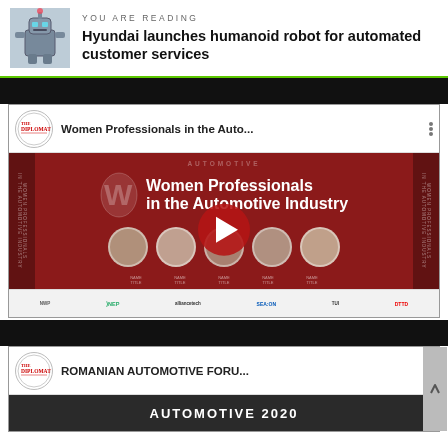[Figure (screenshot): Article header with robot thumbnail image on left]
YOU ARE READING
Hyundai launches humanoid robot for automated customer services
[Figure (screenshot): YouTube video thumbnail: Women Professionals in the Auto... with The Diplomat logo, red background showing faces of automotive industry women]
[Figure (screenshot): YouTube video thumbnail: ROMANIAN AUTOMOTIVE FORU... with The Diplomat logo]